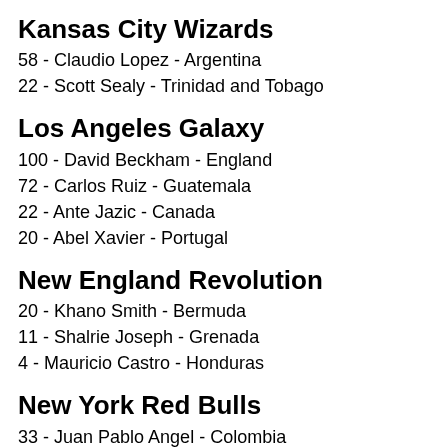Kansas City Wizards
58 - Claudio Lopez - Argentina
22 - Scott Sealy - Trinidad and Tobago
Los Angeles Galaxy
100 - David Beckham - England
72 - Carlos Ruiz - Guatemala
22 - Ante Jazic - Canada
20 - Abel Xavier - Portugal
New England Revolution
20 - Khano Smith - Bermuda
11 - Shalrie Joseph - Grenada
4 - Mauricio Castro - Honduras
New York Red Bulls
33 - Juan Pablo Angel - Colombia
6 - Dane Richards - Jamaica
4 - Chris Megaloudis - Puerto Rico
2 - Dave van den Bergh - Netherlands
2 - Andrew Boyens - New Zealand